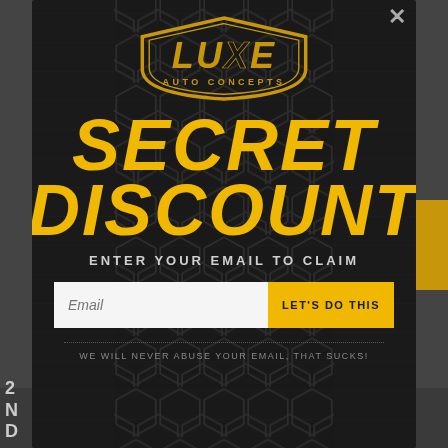[Figure (logo): Luxe Auto Concepts logo — gold shield/badge shape with stylized LUXE text and AUTO CONCEPTS below]
SECRET DISCOUNT
ENTER YOUR EMAIL TO CLAIM
Email [input field] LET'S DO THIS [button]
WE WILL NEVER ABUSE YOUR EMAIL, THAT SUCKS!